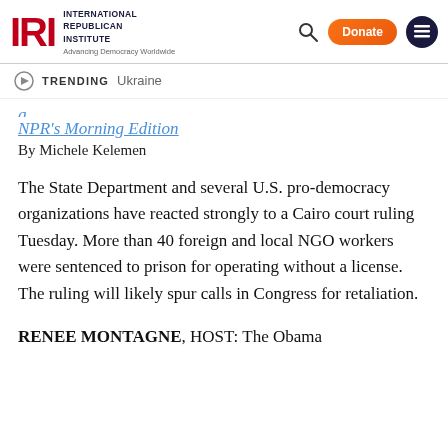International Republican Institute — Advancing Democracy Worldwide
TRENDING   Ukraine
NPR's Morning Edition
By Michele Kelemen
The State Department and several U.S. pro-democracy organizations have reacted strongly to a Cairo court ruling Tuesday. More than 40 foreign and local NGO workers were sentenced to prison for operating without a license. The ruling will likely spur calls in Congress for retaliation.
RENEE MONTAGNE, HOST: The Obama